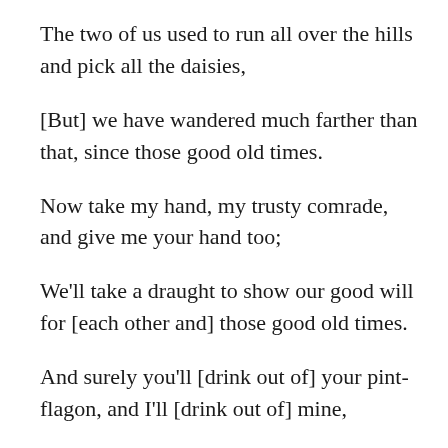The two of us used to run all over the hills and pick all the daisies,
[But] we have wandered much farther than that, since those good old times.
Now take my hand, my trusty comrade, and give me your hand too;
We'll take a draught to show our good will for [each other and] those good old times.
And surely you'll [drink out of] your pint-flagon, and I'll [drink out of] mine,